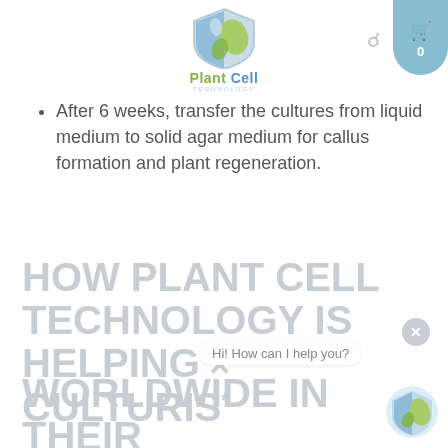[Figure (logo): Plant Cell Technology logo with shield icon, green and blue colors, 'Plant Cell' text and 'TECHNOLOGY' subtitle]
After 6 weeks, transfer the cultures from liquid medium to solid agar medium for callus formation and plant regeneration.
HOW PLANT CELL TECHNOLOGY IS HELPING CULTURIS' WORLDWIDE IN THEIR TISSUE CULTURE
Hi! How can I help you?